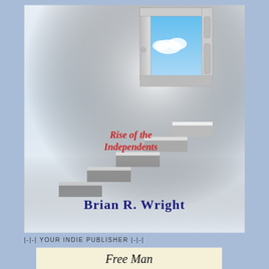[Figure (illustration): Book cover for 'Rise of the Independents' by Brian R. Wright. Shows a staircase leading up to an open door with blue sky and clouds visible through it. Light gradient background from white to light gray. Red italic text reads 'Rise of the Independents' in the middle. Dark navy bold text reads 'Brian R. Wright' at the bottom of the cover.]
|-|-| YOUR INDIE PUBLISHER |-|-|
Free Man